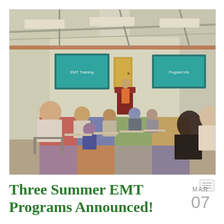[Figure (photo): A classroom or training room scene with students/trainees seated at individual desks arranged in rows facing a presenter/instructor standing at a podium at the front. Two large screens displaying teal/cyan content are mounted on the front wall. The room has a colorful patchwork carpet in orange, red, blue, green, and grey squares. The ceiling has exposed metal beams with overhead lighting. Students are wearing casual clothes including some in uniform-style shirts.]
Three Summer EMT Programs Announced!
MAR 07